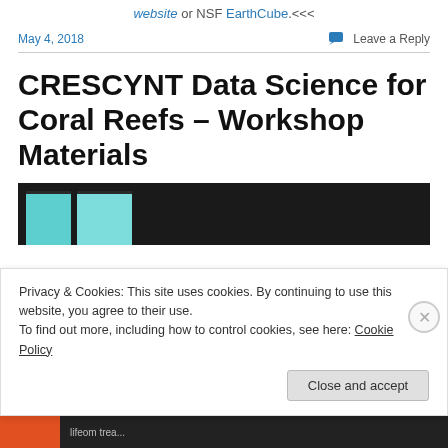website or NSF EarthCube.<<<
May 4, 2018
Leave a Reply
CRESCYNT Data Science for Coral Reefs – Workshop Materials
[Figure (photo): Dark background with teal/cyan book or folder covers visible at the top of the image]
Privacy & Cookies: This site uses cookies. By continuing to use this website, you agree to their use.
To find out more, including how to control cookies, see here: Cookie Policy
Close and accept